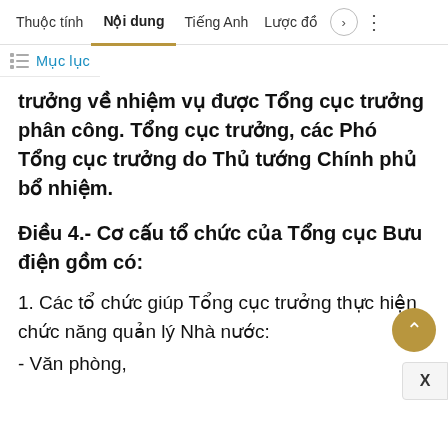Thuộc tính   Nội dung   Tiếng Anh   Lược đồ
Mục lục
trưởng về nhiệm vụ được Tổng cục trưởng phân công. Tổng cục trưởng, các Phó Tổng cục trưởng do Thủ tướng Chính phủ bổ nhiệm.
Điều 4.- Cơ cấu tổ chức của Tổng cục Bưu điện gồm có:
1. Các tổ chức giúp Tổng cục trưởng thực hiện chức năng quản lý Nhà nước:
- Văn phòng,